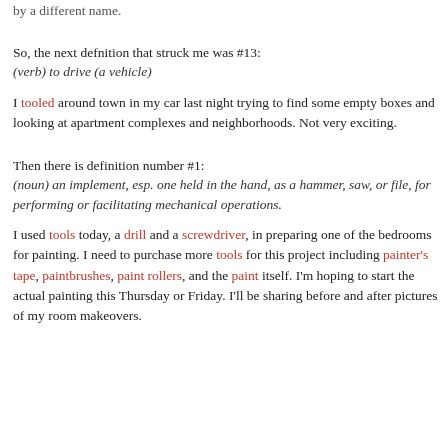by a different name.
So, the next defnition that struck me was #13:
(verb) to drive (a vehicle)
I tooled around town in my car last night trying to find some empty boxes and looking at apartment complexes and neighborhoods. Not very exciting.
Then there is definition number #1:
(noun) an implement, esp. one held in the hand, as a hammer, saw, or file, for performing or facilitating mechanical operations.
I used tools today, a drill and a screwdriver, in preparing one of the bedrooms for painting. I need to purchase more tools for this project including painter's tape, paintbrushes, paint rollers, and the paint itself. I'm hoping to start the actual painting this Thursday or Friday. I'll be sharing before and after pictures of my room makeovers.